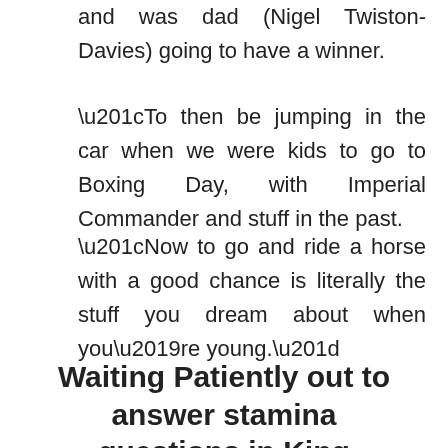and was dad (Nigel Twiston-Davies) going to have a winner.
“To then be jumping in the car when we were kids to go to Boxing Day, with Imperial Commander and stuff in the past.
“Now to go and ride a horse with a good chance is literally the stuff you dream about when you’re young.”
Waiting Patiently out to answer stamina questions in King George